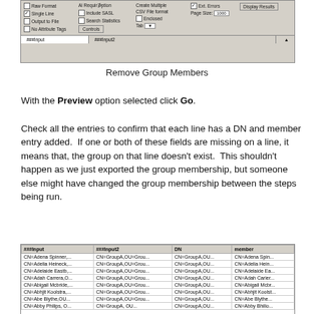[Figure (screenshot): A software UI dialog screenshot showing checkboxes (Raw Format, Single Line, Output to File, No Attribute Tags), a Controls button, Include SASL and Search Statistics options, CSV File format and Endpoint options, Ext. Errors checkbox, Page Size 1000 field, and a Display Results button. Below are two input tabs labeled ###Input and ###Input2.]
Remove Group Members
With the Preview option selected click Go.
Check all the entries to confirm that each line has a DN and member entry added.  If one or both of these fields are missing on a line, it means that, the group on that line doesn't exist.  This shouldn't happen as we just exported the group membership, but someone else might have changed the group membership between the steps being run.
[Figure (screenshot): A table screenshot with columns ###Input, ###Input2, DN, member. Rows include CN=Adena Spinner..., CN=Adelia Heineck..., CN=Adelaide Eastb..., CN=Adah Carrera,O..., CN=Abigail Mcbride..., CN=Abhjit Koolstra,..., CN=Abe Blythe,OU..., CN=Abby Philips,O... with corresponding GroupA,OU=Grou... values in ###Input2, CN=GroupA,OU... in DN, and CN=Adena Spin.., CN=Adelia Hein.., CN=Adelaide Ea..., CN=Adah Carier..., CN=Abigail Mcbr..., CN=Abhjit Koolst.., CN=Abe Blythe..., CN=Abby Bhilio.. in member.]